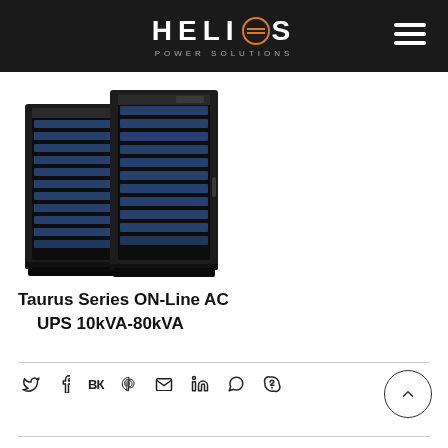HELIOS POWER SOLUTIONS
[Figure (photo): Two black tower UPS cabinet units (Taurus Series) side by side, with blue ventilation grilles on the front panels]
Taurus Series ON-Line AC UPS 10kVA-80kVA
Social sharing icons: Twitter, Facebook, VK, Pinterest, Email, LinkedIn, WhatsApp, Skype